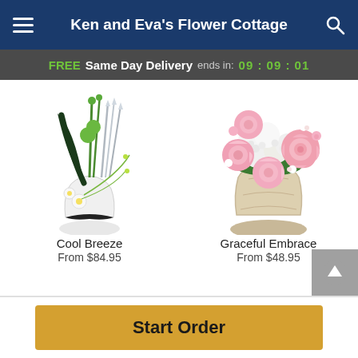Ken and Eva's Flower Cottage
FREE Same Day Delivery ends in: 09 : 09 : 01
[Figure (photo): Cool Breeze floral arrangement with tall green stems, silver metallic spikes, white daisies, and a black ribbon accent in a white vase]
Cool Breeze
From $84.95
[Figure (photo): Graceful Embrace floral arrangement with pink roses and white flowers in a cream/beige rounded ceramic vase]
Graceful Embrace
From $48.95
Start Order